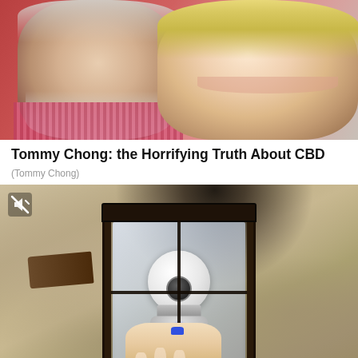[Figure (photo): Two people smiling — an older man with white beard and a blonde woman — shown from shoulders up against a reddish-pink background.]
Tommy Chong: the Horrifying Truth About CBD
(Tommy Chong)
[Figure (photo): A smart security camera bulb installed inside an outdoor wall lantern fixture mounted on a textured stucco wall. A hand with blue nail polish is shown adjusting the device. A mute/no-location icon is visible in the top-left corner of the image.]